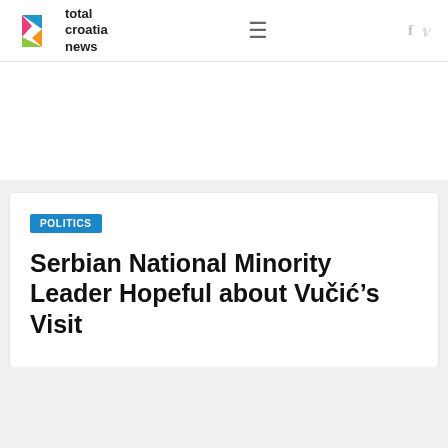total croatia news
POLITICS
Serbian National Minority Leader Hopeful about Vučić's Visit